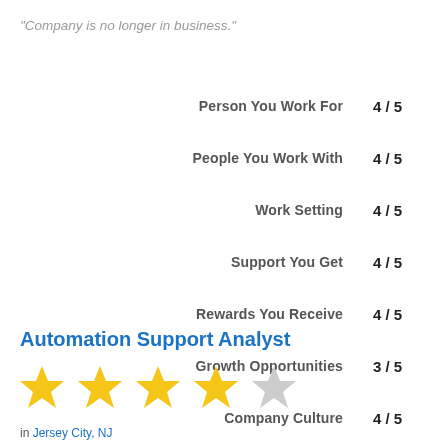"Company is no longer in business."
| Category | Score |
| --- | --- |
| Person You Work For | 4 / 5 |
| People You Work With | 4 / 5 |
| Work Setting | 4 / 5 |
| Support You Get | 4 / 5 |
| Rewards You Receive | 4 / 5 |
| Growth Opportunities | 3 / 5 |
| Company Culture | 4 / 5 |
| Way You Work | 4 / 5 |
Automation Support Analyst
[Figure (other): 4 out of 5 star rating — four filled gold stars and one empty grey star]
in Jersey City, NJ